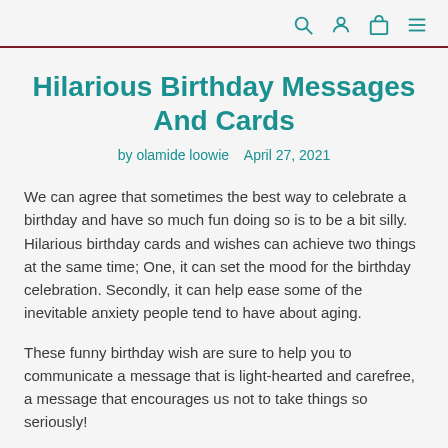🔍 👤 🛍 ☰
Hilarious Birthday Messages And Cards
by olamide loowie   April 27, 2021
We can agree that sometimes the best way to celebrate a birthday and have so much fun doing so is to be a bit silly. Hilarious birthday cards and wishes can achieve two things at the same time; One, it can set the mood for the birthday celebration. Secondly, it can help ease some of the inevitable anxiety people tend to have about aging.
These funny birthday wish are sure to help you to communicate a message that is light-hearted and carefree, a message that encourages us not to take things so seriously!